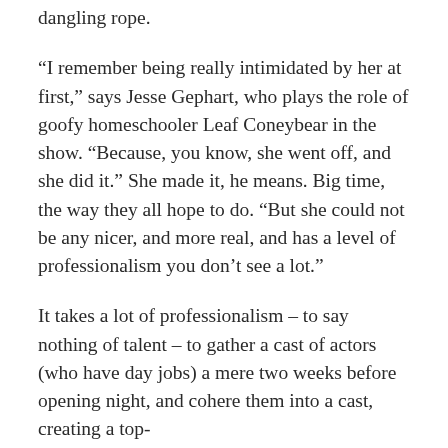dangling rope.
“I remember being really intimidated by her at first,” says Jesse Gephart, who plays the role of goofy homeschooler Leaf Coneybear in the show. “Because, you know, she went off, and she did it.” She made it, he means. Big time, the way they all hope to do. “But she could not be any nicer, and more real, and has a level of professionalism you don’t see a lot.”
It takes a lot of professionalism – to say nothing of talent – to gather a cast of actors (who have day jobs) a mere two weeks before opening night, and cohere them into a cast, creating a top-